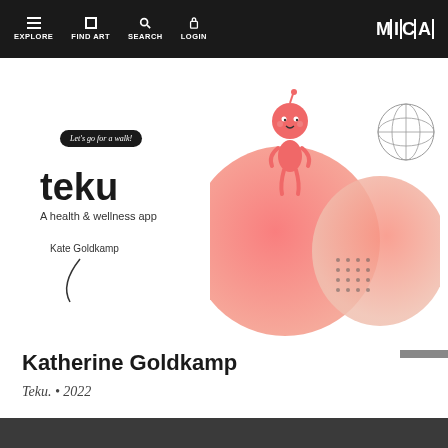EXPLORE  FIND ART  SEARCH  LOGIN  M|C|A
[Figure (illustration): Teku health and wellness app branding illustration with coral/salmon colored overlapping circles, a small cute character with a round head standing on top, a grid sphere, decorative dots pattern, a badge reading 'Let's go for a walk!', the word 'teku' in bold, subtitle 'A health & wellness app', and 'Kate Goldkamp' signature with a curved line.]
Katherine Goldkamp
Teku. • 2022